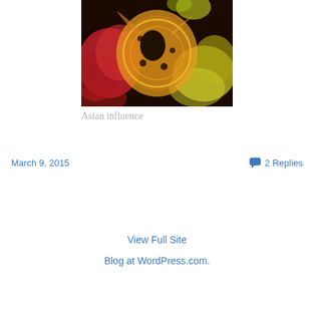[Figure (photo): Abstract photo of colorful ink or paint in water, featuring yellow/orange lattice-like structure against red and yellow cloud-like forms on dark background]
Asian influence
March 9, 2015
2 Replies
View Full Site
Blog at WordPress.com.